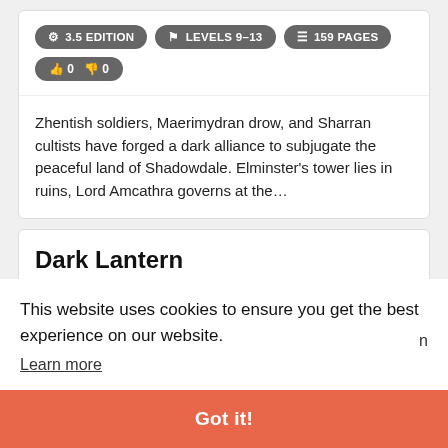⚙ 3.5 EDITION | ⚑ LEVELS 9-13 | ☰ 159 PAGES | 👍 0 👎 0
Zhentish soldiers, Maerimydran drow, and Sharran cultists have forged a dark alliance to subjugate the peaceful land of Shadowdale. Elminster's tower lies in ruins, Lord Amcathra governs at the…
Dark Lantern
⚙ 4TH EDITION | ⚑ LEVELS 6-8 | ☰ 38 PAGES
This website uses cookies to ensure you get the best experience on our website.
Learn more
Got it!